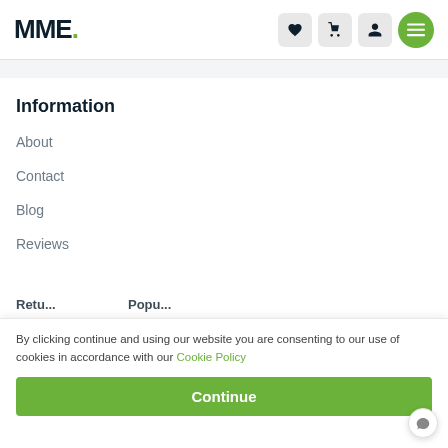MME.
Information
About
Contact
Blog
Reviews
By clicking continue and using our website you are consenting to our use of cookies in accordance with our Cookie Policy
Continue